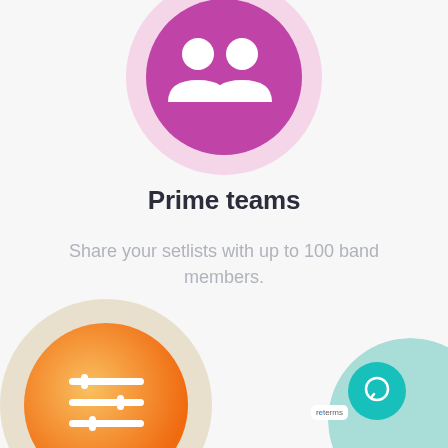[Figure (illustration): Purple circle icon with two white person/people silhouettes on a light pink larger outer ring, positioned at top center, partially cropped]
Prime teams
Share your setlists with up to 100 band members.
[Figure (illustration): Orange gradient circle with white equalizer/sliders icon on a beige/cream outer ring, positioned at bottom center-left, partially cropped]
[Figure (illustration): Teal/mint partial circle at bottom right with a darker teal chat bubble button, partially cropped. Small white reCAPTCHA badge visible.]